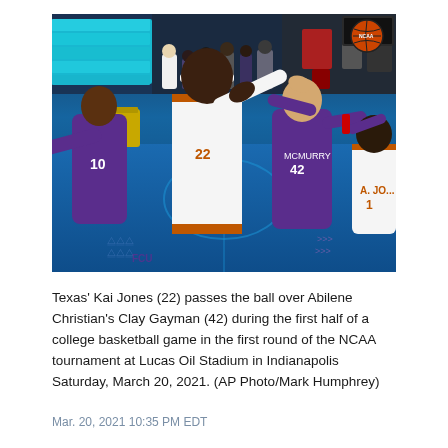[Figure (photo): Basketball action photo of Texas player Kai Jones (#22) in white uniform passing the ball over Abilene Christian players in purple uniforms (#10 and #42 Clay Gayman) during an NCAA tournament game at Lucas Oil Stadium, Indianapolis. A basketball is visible in the upper right. The court floor and arena seating are visible in the background.]
Texas' Kai Jones (22) passes the ball over Abilene Christian's Clay Gayman (42) during the first half of a college basketball game in the first round of the NCAA tournament at Lucas Oil Stadium in Indianapolis Saturday, March 20, 2021. (AP Photo/Mark Humphrey)
Mar. 20, 2021 10:35 PM EDT